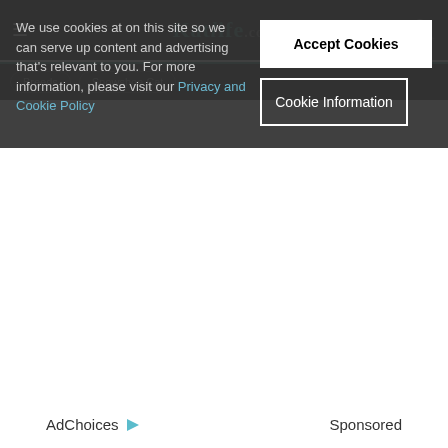[Figure (screenshot): Website header with hamburger menu, site logo 'Katlife.com' and search icon on dark background, with green-teal border and nav tabs below]
We use cookies at on this site so we can serve up content and advertising that's relevant to you. For more information, please visit our Privacy and Cookie Policy
Accept Cookies
Cookie Information
AdChoices ▷ Sponsored